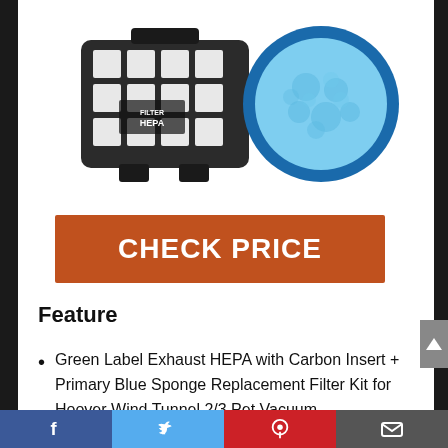[Figure (photo): Two vacuum filter parts: a black rectangular HEPA exhaust filter with a grid pattern and 'FILTER HEPA' label, and a round blue sponge primary filter with a blue border, shown on a white background.]
CHECK PRICE
Feature
Green Label Exhaust HEPA with Carbon Insert + Primary Blue Sponge Replacement Filter Kit for Hoover Wind Tunnel 2/3 Pet Vacuum